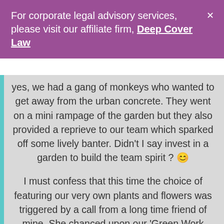For corporate legal advisory services, please visit our affiliate firm, Deep Cover Law
yes, we had a gang of monkeys who wanted to get away from the urban concrete. They went on a mini rampage of the garden but they also provided a reprieve to our team which sparked off some lively banter. Didn’t I say invest in a garden to build the team spirit ? 😊
I must confess that this time the choice of featuring our very own plants and flowers was triggered by a call from a long time friend of mine. She chanced upon our ‘Green Work Place’ pictures as she was browsing our website and promptly called me to compliment – a fresh-looking work place with fresh-looking people (sharadass.com/team). She even gave me a tip